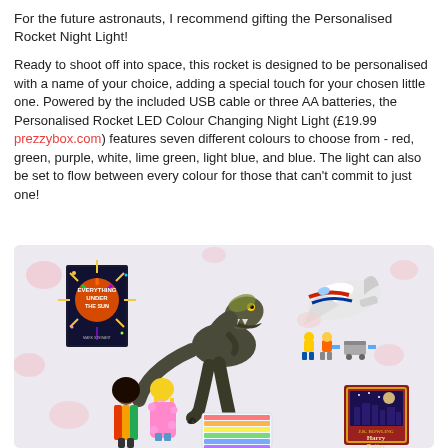For the future astronauts, I recommend gifting the Personalised Rocket Night Light!
Ready to shoot off into space, this rocket is designed to be personalised with a name of your choice, adding a special touch for your chosen little one. Powered by the included USB cable or three AA batteries, the Personalised Rocket LED Colour Changing Night Light (£19.99 prezzybox.com) features seven different colours to choose from - red, green, purple, white, lime green, light blue, and blue. The light can also be set to flow between every colour for those that can't commit to just one!
[Figure (photo): Collage of children's toys and gifts on a light purple background with decorative pink blob shapes: a book titled 'Everything Under the Sun', a large dinosaur (T-rex) toy, a LEGO space shuttle set, two Barbie dolls, a Harry Potter book box set, and a patterned box.]